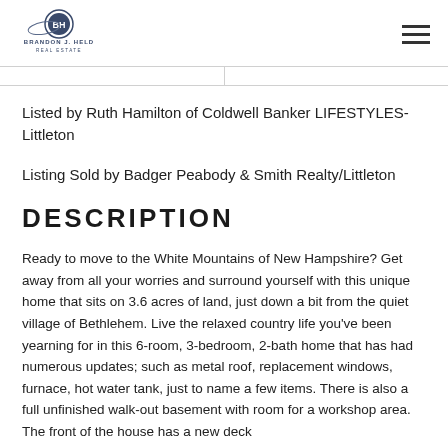[Figure (logo): Brandon J. Held Real Estate logo — circular icon with 'BH' initials above text 'Brandon J. Held Real Estate']
Listed by Ruth Hamilton of Coldwell Banker LIFESTYLES- Littleton
Listing Sold by Badger Peabody & Smith Realty/Littleton
DESCRIPTION
Ready to move to the White Mountains of New Hampshire? Get away from all your worries and surround yourself with this unique home that sits on 3.6 acres of land, just down a bit from the quiet village of Bethlehem. Live the relaxed country life you've been yearning for in this 6-room, 3-bedroom, 2-bath home that has had numerous updates; such as metal roof, replacement windows, furnace, hot water tank, just to name a few items. There is also a full unfinished walk-out basement with room for a workshop area. The front of the house has a new deck